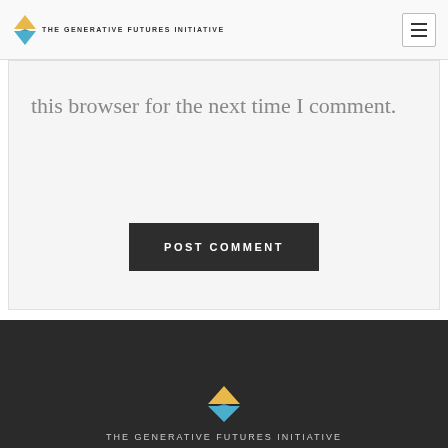THE GENERATIVE FUTURES INITIATIVE
this browser for the next time I comment.
POST COMMENT
THE GENERATIVE FUTURES INITIATIVE